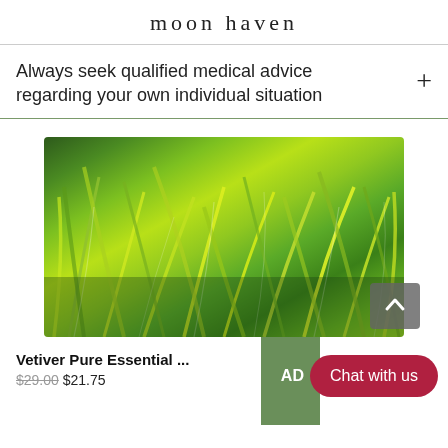moon haven
Always seek qualified medical advice regarding your own individual situation
[Figure (photo): Close-up photo of green grass blades (vetiver plant), lush and dense, bright green with pale striping]
Vetiver Pure Essential ... $29.00 $21.75
AD Chat with us